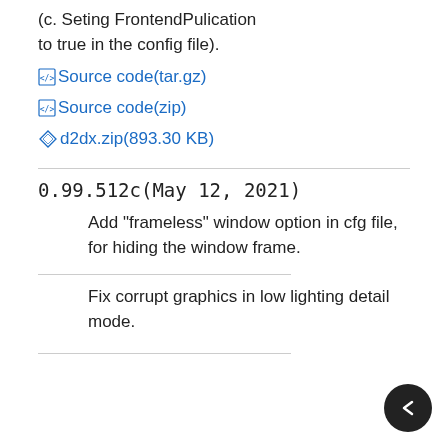(c. Seting FrontendPulication to true in the config file).
Source code(tar.gz)
Source code(zip)
d2dx.zip(893.30 KB)
0.99.512c(May 12, 2021)
Add "frameless" window option in cfg file, for hiding the window frame.
Fix corrupt graphics in low lighting detail mode.